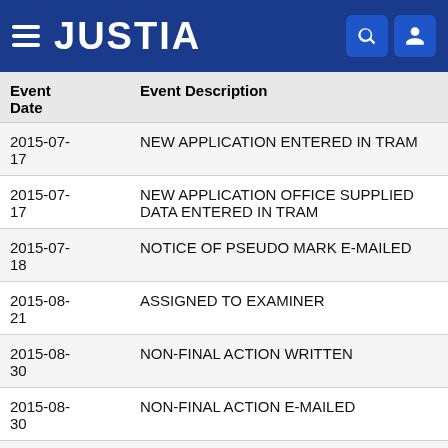JUSTIA
| Event Date | Event Description |
| --- | --- |
| 2015-07-17 | NEW APPLICATION ENTERED IN TRAM |
| 2015-07-17 | NEW APPLICATION OFFICE SUPPLIED DATA ENTERED IN TRAM |
| 2015-07-18 | NOTICE OF PSEUDO MARK E-MAILED |
| 2015-08-21 | ASSIGNED TO EXAMINER |
| 2015-08-30 | NON-FINAL ACTION WRITTEN |
| 2015-08-30 | NON-FINAL ACTION E-MAILED |
| 2015-08-... | NOTIFICATION OF NON-FINAL ACTION... |